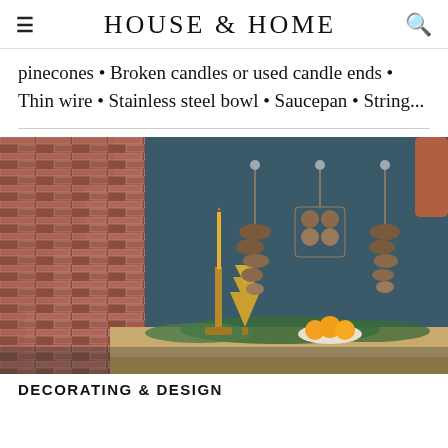HOUSE & HOME
pinecones • Broken candles or used candle ends • Thin wire • Stainless steel bowl • Saucepan • String...
[Figure (photo): Interior photo showing a dark teal paneled wall with pinecone ornaments hanging from hooks, a yellow taper candle on a wooden candlestick, small golden Christmas tree figurine, and a wooden shelf with greenery, a bowl of oranges, and a brick staircase on the left.]
DECORATING & DESIGN